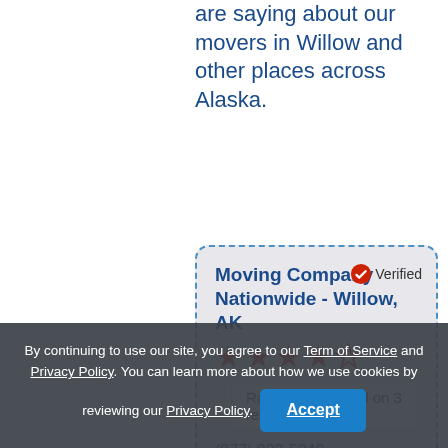are saying about our movers in Willow and other places across Alaska.
Moving Company Nationwide - Willow, AK
Verified
Rating: 4/5 (based on 3 reviews)
(877) 822-5248
"Only after searching Google for an hour and getting a few quotes did I find this moving company and I am pleased I did. They were the best priced moving company and they covered the best bang for my buck for the move. Major Kudos guys on a move well done.
By continuing to use our site, you agree to our Term of Service and Privacy Policy. You can learn more about how we use cookies by reviewing our Privacy Policy.